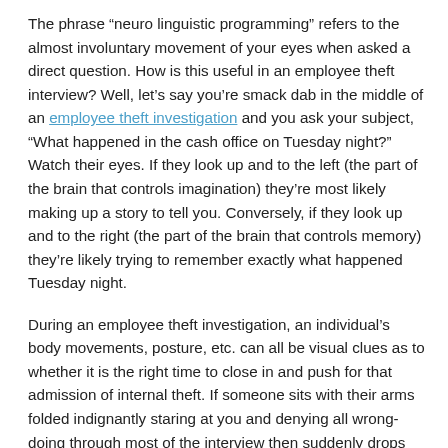The phrase “neuro linguistic programming” refers to the almost involuntary movement of your eyes when asked a direct question. How is this useful in an employee theft interview? Well, let’s say you’re smack dab in the middle of an employee theft investigation and you ask your subject, “What happened in the cash office on Tuesday night?” Watch their eyes. If they look up and to the left (the part of the brain that controls imagination) they’re most likely making up a story to tell you. Conversely, if they look up and to the right (the part of the brain that controls memory) they’re likely trying to remember exactly what happened Tuesday night.
During an employee theft investigation, an individual’s body movements, posture, etc. can all be visual clues as to whether it is the right time to close in and push for that admission of internal theft. If someone sits with their arms folded indignantly staring at you and denying all wrong-doing through most of the interview then suddenly drops their arms, slumps their shoulders and stares at the ground it’s a good indication that mentally they’ve given up and it’s time for you to close in. As a corporate fraud investigator it is vital that you understand the part that non-verbals play in the employee theft